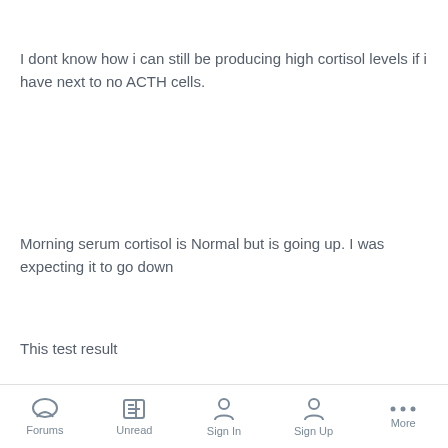I dont know how i can still be producing high cortisol levels if i have next to no ACTH cells.
Morning serum cortisol is Normal but is going up. I was expecting it to go down
This test result
541 ( 119-618) previous result i had a 260 (11 days post OP), then a 440 (4
Forums   Unread   Sign In   Sign Up   More